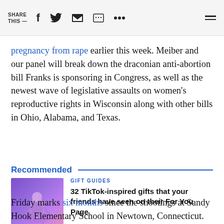SHARE THIS —
pregnancy from rape earlier this week. Meiber and our panel will break down the draconian anti-abortion bill Franks is sponsoring in Congress, as well as the newest wave of legislative assaults on women's reproductive rights in Wisconsin along with other bills in Ohio, Alabama, and Texas.
Recommended
[Figure (photo): Thumbnail image of a person in a purple/violet outfit against a purple gradient background]
GIFT GUIDES
32 TikTok-inspired gifts that your friends have seen on their For You Page
Friday marks six months since the shootings at Sandy Hook Elementary School in Newtown, Connecticut. Our